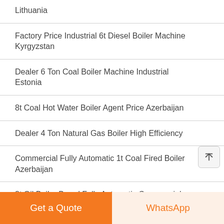Lithuania
Factory Price Industrial 6t Diesel Boiler Machine Kyrgyzstan
Dealer 6 Ton Coal Boiler Machine Industrial Estonia
8t Coal Hot Water Boiler Agent Price Azerbaijan
Dealer 4 Ton Natural Gas Boiler High Efficiency
Commercial Fully Automatic 1t Coal Fired Boiler Azerbaijan
8t Oil Boiler Brand Fully Automatic Commercial Russia
Manufacturers 4t Natural Gas Atmospheric Pressure Boiler Ukraine